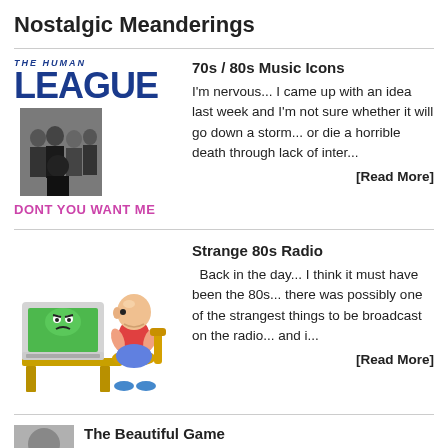Nostalgic Meanderings
70s / 80s Music Icons
[Figure (illustration): Human League band logo and photo with 'DONT YOU WANT ME' text]
I'm nervous... I came up with an idea last week and I'm not sure whether it will go down a storm... or die a horrible death through lack of inter...
[Read More]
Strange 80s Radio
[Figure (illustration): Cartoon of a bald man sitting at a vintage computer/desk]
Back in the day... I think it must have been the 80s... there was possibly one of the strangest things to be broadcast on the radio... and i...
[Read More]
The Beautiful Game